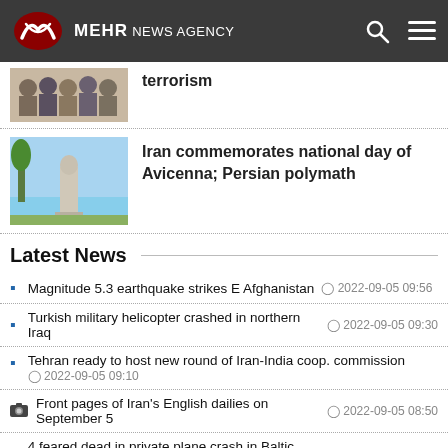MEHR NEWS AGENCY
terrorism
Iran commemorates national day of Avicenna; Persian polymath
Latest News
Magnitude 5.3 earthquake strikes E Afghanistan  2022-09-05 09:56
Turkish military helicopter crashed in northern Iraq  2022-09-05 09:30
Tehran ready to host new round of Iran-India coop. commission  2022-09-05 09:10
Front pages of Iran's English dailies on September 5  2022-09-05 08:50
4 feared dead in private plane crash in Baltic Sea  2022-09-05 08:38
Canada stabbing attacks leave 10 dead, 15 injured  2022-09-05 08:30